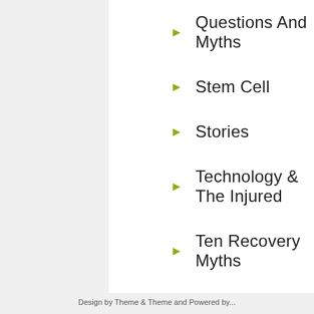Questions And Myths
Stem Cell
Stories
Technology & The Injured
Ten Recovery Myths
Uncategorized
Video
What To Do
Design by Theme & Theme and Powered by...